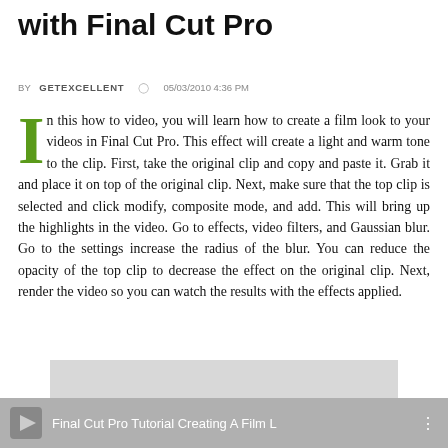with Final Cut Pro
BY GETEXCELLENT   05/03/2010 4:36 PM
In this how to video, you will learn how to create a film look to your videos in Final Cut Pro. This effect will create a light and warm tone to the clip. First, take the original clip and copy and paste it. Grab it and place it on top of the original clip. Next, make sure that the top clip is selected and click modify, composite mode, and add. This will bring up the highlights in the video. Go to effects, video filters, and Gaussian blur. Go to the settings increase the radius of the blur. You can reduce the opacity of the top clip to decrease the effect on the original clip. Next, render the video so you can watch the results with the effects applied.
[Figure (screenshot): Gray placeholder area for embedded video]
Final Cut Pro Tutorial Creating A Film L...